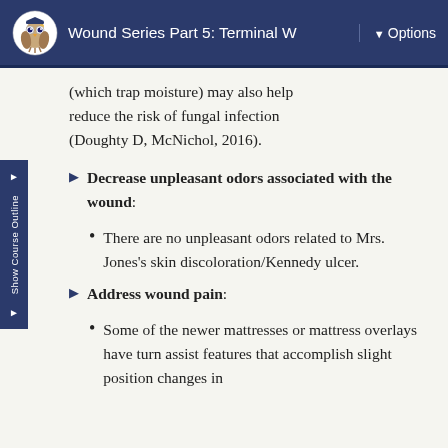Wound Series Part 5: Terminal W  ▼ Options
(which trap moisture) may also help reduce the risk of fungal infection (Doughty D, McNichol, 2016).
Decrease unpleasant odors associated with the wound: There are no unpleasant odors related to Mrs. Jones's skin discoloration/Kennedy ulcer.
Address wound pain: Some of the newer mattresses or mattress overlays have turn assist features that accomplish slight position changes in